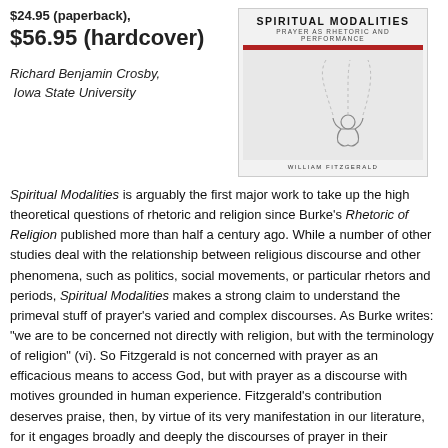$24.95 (paperback),
$56.95 (hardcover)
[Figure (illustration): Book cover for 'Spiritual Modalities: Prayer as Rhetoric and Performance' by William Fitzgerald. The cover shows a light gray background with a simple line drawing of a figure in prayer, with dashed lines suggesting movement upward.]
Richard Benjamin Crosby, Iowa State University
Spiritual Modalities is arguably the first major work to take up the high theoretical questions of rhetoric and religion since Burke's Rhetoric of Religion published more than half a century ago. While a number of other studies deal with the relationship between religious discourse and other phenomena, such as politics, social movements, or particular rhetors and periods, Spiritual Modalities makes a strong claim to understand the primeval stuff of prayer's varied and complex discourses. As Burke writes: "we are to be concerned not directly with religion, but with the terminology of religion" (vi). So Fitzgerald is not concerned with prayer as an efficacious means to access God, but with prayer as a discourse with motives grounded in human experience. Fitzgerald's contribution deserves praise, then, by virtue of its very manifestation in our literature, for it engages broadly and deeply the discourses of prayer in their complexity, situatedness, diversity, and embodiment. In order to cover this broad ground, Fitzgerald employs Burke's pentad, which is an appropriate choice because it provides a